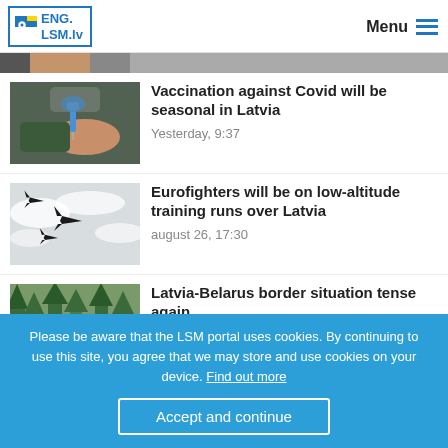ENG. LSM.lv — Menu
[Figure (photo): Partial top image strip, cropped]
[Figure (photo): Person receiving a vaccination injection]
Vaccination against Covid will be seasonal in Latvia
Yesterday, 9:37
[Figure (photo): Three military jet fighters (Eurofighters) flying against a cloudy sky]
Eurofighters will be on low-altitude training runs over Latvia
august 26, 17:30
[Figure (photo): Forested border area, Latvia-Belarus]
Latvia-Belarus border situation tense again
Please be aware that the LSM portal uses cookies. By continuing to use this site, you agree that we may store and use cookies on your device. Find out more
Accept and continue